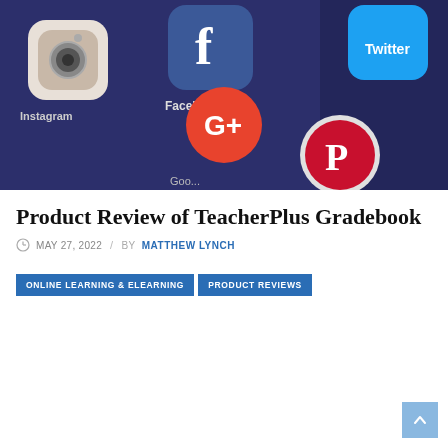[Figure (photo): Close-up of a smartphone screen showing social media app icons including Instagram, Facebook, Google+, Twitter, and Pinterest on a dark purple/blue background.]
Product Review of TeacherPlus Gradebook
MAY 27, 2022  /  BY MATTHEW LYNCH
ONLINE LEARNING & ELEARNING
PRODUCT REVIEWS